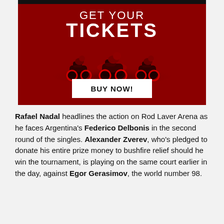[Figure (illustration): Red advertisement banner for motorsport tickets. Dark red background with motorcycle racers silhouetted in red/black. White text reads 'GET YOUR TICKETS' at the top. A white 'BUY NOW!' button at the bottom.]
Rafael Nadal headlines the action on Rod Laver Arena as he faces Argentina's Federico Delbonis in the second round of the singles. Alexander Zverev, who's pledged to donate his entire prize money to bushfire relief should he win the tournament, is playing on the same court earlier in the day, against Egor Gerasimov, the world number 98.